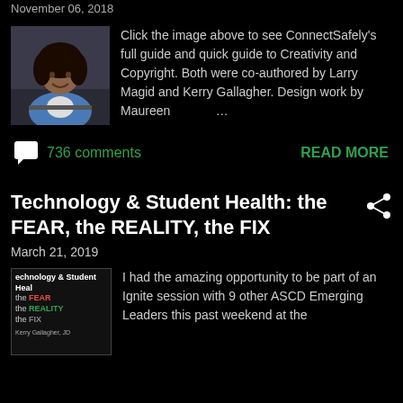November 06, 2018
[Figure (photo): Photo of a young woman smiling, sitting at a desk with a laptop, wearing a blue jacket]
Click the image above to see ConnectSafely's full guide and quick guide to Creativity and Copyright. Both were co-authored by Larry Magid and Kerry Gallagher. Design work by Maureen …
736 comments
READ MORE
Technology & Student Health: the FEAR, the REALITY, the FIX
March 21, 2019
[Figure (photo): Book cover: Technology & Student Health: the FEAR the REALITY the FIX by Kerry Gallagher, JD]
I had the amazing opportunity to be part of an Ignite session with 9 other ASCD Emerging Leaders this past weekend at the